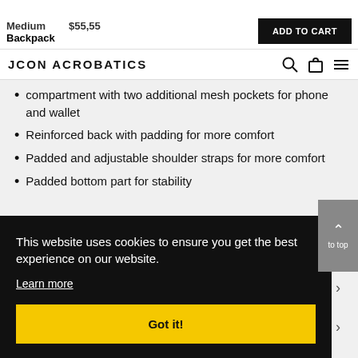Medium Backpack   $55,55   ADD TO CART
JCON ACROBATICS
compartment with two additional mesh pockets for phone and wallet
Reinforced back with padding for more comfort
Padded and adjustable shoulder straps for more comfort
Padded bottom part for stability
This website uses cookies to ensure you get the best experience on our website.
Learn more
Got it!